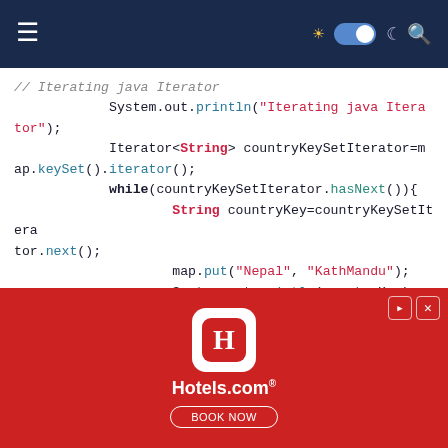Navigation bar with menu, toggle, and search icons
// Iterating java Iterator
            System.out.println("Iterating java Iterator");
            Iterator<String> countryKeySetIterator=map.keySet().iterator();
            while(countryKeySetIterator.hasNext()){
                    String countryKey=countryKeySetIterator.next();
                    map.put("Nepal", "KathMandu");
                    System.out.println(countryKey);

            }
            System.out.println("------------------------------");
        }
[Figure (other): Hotels.com advertisement banner with red background, Hotels.com logo, and BOOK NOW button]